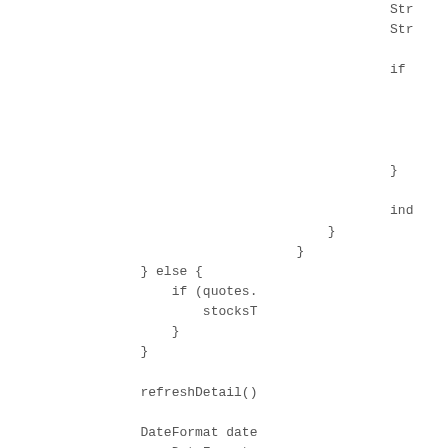Str
    Str

    if



    }

    ind
            }
        }
    } else {
        if (quotes.
            stocksT
        }
    }

    refreshDetail()

    DateFormat date
        DateFormat.
    lastUpdateLabel

    getQuery = null
    }